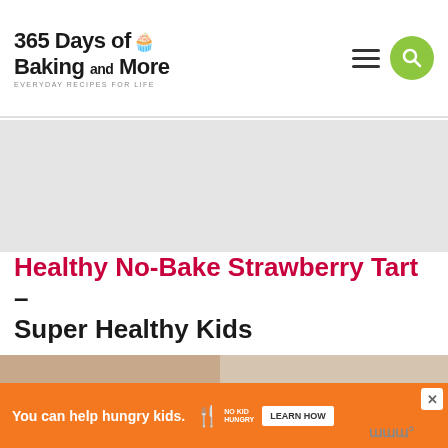365 Days of Baking and More — EVERYDAY RECIPES FOR LIFE
Healthy No-Bake Strawberry Tart – Super Healthy Kids
[Figure (photo): Food photo showing fresh strawberries in a green bowl on the left, and a slice of tart on a white plate on the right with a spoon, topped with sliced strawberries]
328
You can help hungry kids.
NO KID HUNGRY
LEARN HOW